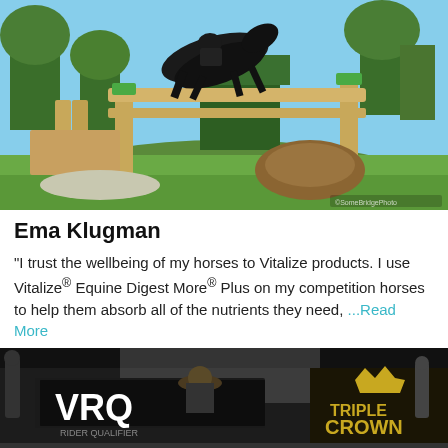[Figure (photo): A dark horse with rider jumping over a wooden cross-country fence at an equestrian competition. Green grass and trees in the background, sunny day. Photo credit watermark in bottom right.]
Ema Klugman
"I trust the wellbeing of my horses to Vitalize products. I use Vitalize® Equine Digest More® Plus on my competition horses to help them absorb all of the nutrients they need, ...Read More
[Figure (photo): Dark nighttime or shaded arena scene at a rodeo event. Banners visible reading 'VRQ' (Vegas Rodeo Qualifier) and 'Triple Crown'. People visible in the background near the arena fence.]